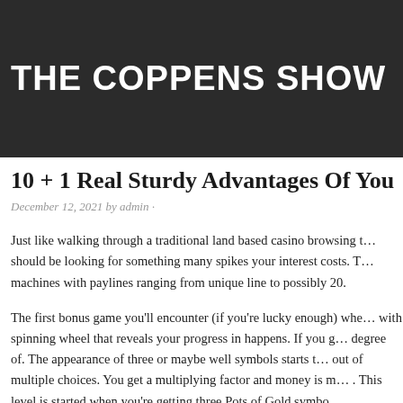THE COPPENS SHOW
10 + 1 Real Sturdy Advantages Of You
December 12, 2021 by admin ·
Just like walking through a traditional land based casino browsing t… should be looking for something many spikes your interest costs. T… machines with paylines ranging from unique line to possibly 20.
The first bonus game you'll encounter (if you're lucky enough) whe… with spinning wheel that reveals your progress in happens. If you g… degree of. The appearance of three or maybe well symbols starts t… out of multiple choices. You get a multiplying factor and money is m… . This level is started when you're getting three Pots of Gold symbo…